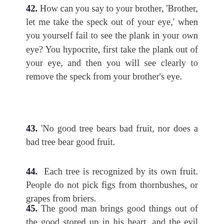42. How can you say to your brother, 'Brother, let me take the speck out of your eye,' when you yourself fail to see the plank in your own eye? You hypocrite, first take the plank out of your eye, and then you will see clearly to remove the speck from your brother's eye.
43. 'No good tree bears bad fruit, nor does a bad tree bear good fruit.
44. Each tree is recognized by its own fruit. People do not pick figs from thornbushes, or grapes from briers.
45. The good man brings good things out of the good stored up in his heart, and the evil man brings evil things out of the evil stored up in his heart. For out of the overflow of his heart his